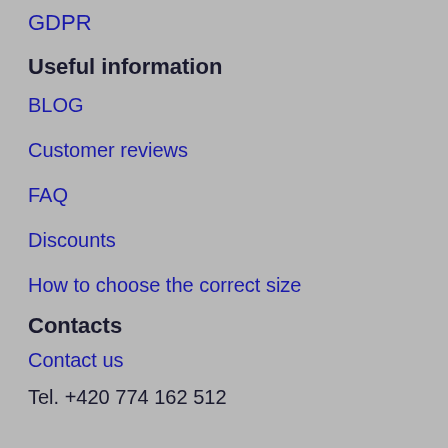GDPR
Useful information
BLOG
Customer reviews
FAQ
Discounts
How to choose the correct size
Contacts
Contact us
Tel. +420 774 162 512